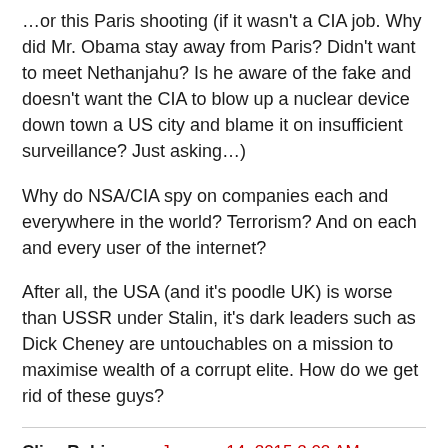…or this Paris shooting (if it wasn't a CIA job. Why did Mr. Obama stay away from Paris? Didn't want to meet Nethanjahu? Is he aware of the fake and doesn't want the CIA to blow up a nuclear device down town a US city and blame it on insufficient surveillance? Just asking…)
Why do NSA/CIA spy on companies each and everywhere in the world? Terrorism? And on each and every user of the internet?
After all, the USA (and it's poodle UK) is worse than USSR under Stalin, it's dark leaders such as Dick Cheney are untouchables on a mission to maximise wealth of a corrupt elite. How do we get rid of these guys?
Clive Robinson • January 14, 2015 2:02 AM
@ Thoth,
… and to my knowledge France have not shown signs of knee-jerk reaction(via anti-crypto/anti-sec measures) yet ?
No way — but that fr... (cut off)